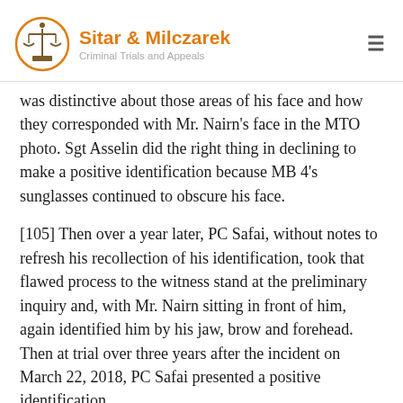Sitar & Milczarek — Criminal Trials and Appeals
was distinctive about those areas of his face and how they corresponded with Mr. Nairn's face in the MTO photo. Sgt Asselin did the right thing in declining to make a positive identification because MB 4's sunglasses continued to obscure his face.
[105] Then over a year later, PC Safai, without notes to refresh his recollection of his identification, took that flawed process to the witness stand at the preliminary inquiry and, with Mr. Nairn sitting in front of him, again identified him by his jaw, brow and forehead. Then at trial over three years after the incident on March 22, 2018, PC Safai presented a positive identification